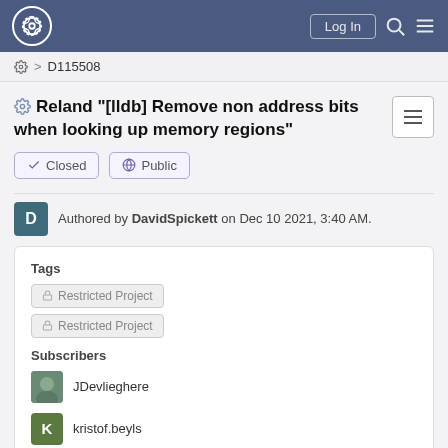Log In [navigation bar with logo, search, menu]
⚙ > D115508
Reland "[lldb] Remove non address bits when looking up memory regions"
✔ Closed   🌐 Public
Authored by DavidSpickett on Dec 10 2021, 3:40 AM.
Tags
🔒 Restricted Project
🔒 Restricted Project
Subscribers
JDevlieghere
kristof.beyls
lldb-commits